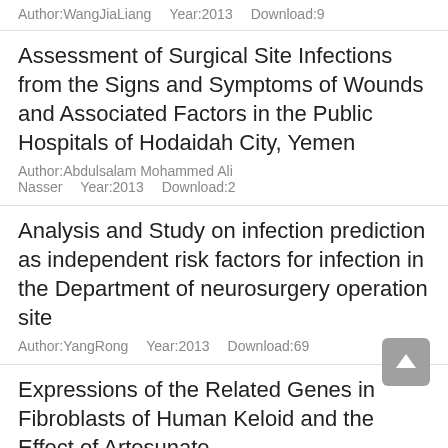Author:WangJiaLiang   Year:2013   Download:9
Assessment of Surgical Site Infections from the Signs and Symptoms of Wounds and Associated Factors in the Public Hospitals of Hodaidah City, Yemen
Author:Abdulsalam Mohammed Ali Nasser   Year:2013   Download:2
Analysis and Study on infection prediction as independent risk factors for infection in the Department of neurosurgery operation site
Author:YangRong   Year:2013   Download:69
Expressions of the Related Genes in Fibroblasts of Human Keloid and the Effect of Artesunate
Author:XiaoLiang   Year:2013   Download:27
The Effect of Dendritic Cell in Acute Rejection on Heteropic Heart Transplantation in Mice